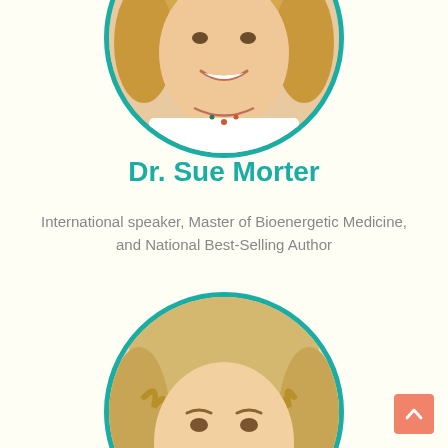[Figure (photo): Circular portrait photo of Dr. Sue Morter, a blonde woman smiling, wearing a white top and colorful necklace, framed by a teal circular border]
Dr. Sue Morter
International speaker, Master of Bioenergetic Medicine, and National Best-Selling Author
[Figure (photo): Circular portrait photo of a blonde woman, framed by a teal circular border, partially visible at the bottom of the page]
[Figure (other): Salmon/orange scroll-to-top arrow button in the bottom-right corner]